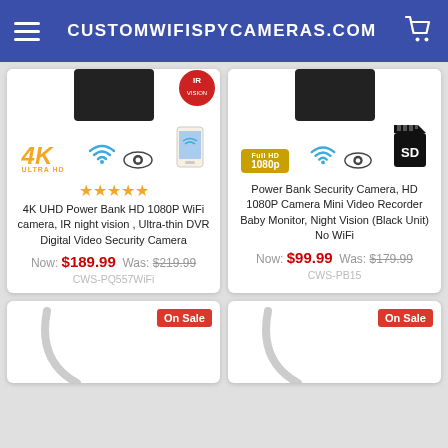CUSTOMWIFISPYCAMERAS.COM
[Figure (screenshot): Product card for 4K UHD Power Bank HD 1080P WiFi camera with 4K Ultra HD badge, wifi icon, spy eye icon, phone icon, IR Vision badge, 5 star rating]
4K UHD Power Bank HD 1080P WiFi camera, IR night vision , Ultra-thin DVR Digital Video Security Camera
Now: $189.99  Was: $219.99
CWS-PQ557WiFi
[Figure (screenshot): Product card for Power Bank Security Camera with Full HD 1080p badge, wifi icon, spy eye icon, SD card icon]
Power Bank Security Camera, HD 1080P Camera Mini Video Recorder Baby Monitor, Night Vision (Black Unit) No WiFi
Now: $99.99  Was: $179.99
CWS-PB15
[Figure (screenshot): Bottom left product card with On Sale badge, partially visible]
[Figure (screenshot): Bottom right product card with On Sale badge, partially visible]